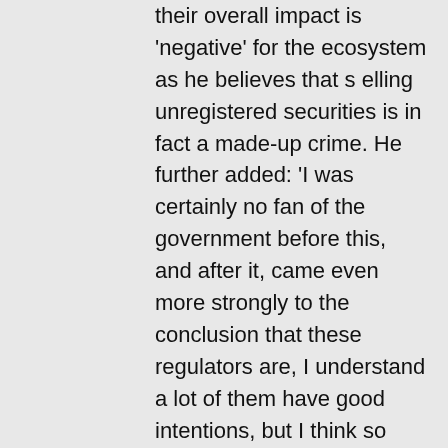their overall impact is 'negative' for the ecosystem as he believes that s elling unregistered securities is in fact a made-up crime. He further added: 'I was certainly no fan of the government before this, and after it, came even more strongly to the conclusion that these regulators are, I understand a lot of them have good intentions, but I think so much of the effect of them is detrimental to good people who are trying to build good things, битстарз нет. According to him, the SEC lawsuit was an attack against the entire crypto ecosystem. Forum 'Cavagrande del Cassibile.
Today's Results:
Fruitastic - 298.7 ltc
Lucky Zodiac - 570 dog
Forro - 379.4 bch
Glutters - 131.1 dog
Great Reef - 675.2 usdt